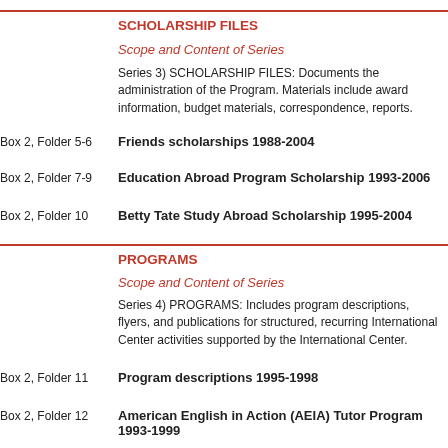SCHOLARSHIP FILES
Scope and Content of Series
Series 3) SCHOLARSHIP FILES: Documents the administration of the Program. Materials include award information, budget materials, correspondence, reports.
Box 2, Folder 5-6    Friends scholarships 1988-2004
Box 2, Folder 7-9    Education Abroad Program Scholarship 1993-2006
Box 2, Folder 10    Betty Tate Study Abroad Scholarship 1995-2004
PROGRAMS
Scope and Content of Series
Series 4) PROGRAMS: Includes program descriptions, flyers, and publications for structured, recurring International Center activities supported by the International Center.
Box 2, Folder 11    Program descriptions 1995-1998
Box 2, Folder 12    American English in Action (AEIA) Tutor Program 1993-1999